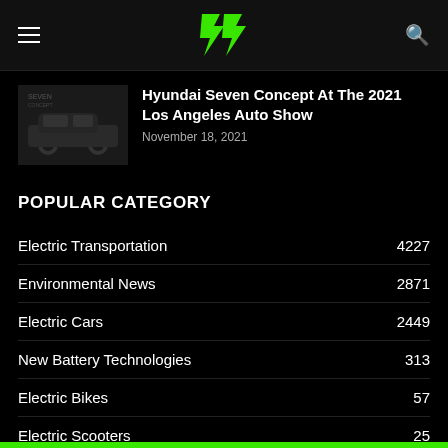Electrek logo header with hamburger menu and search icon
Hyundai Seven Concept At The 2021 Los Angeles Auto Show
November 18, 2021
POPULAR CATEGORY
Electric Transportation  4227
Environmental News  2871
Electric Cars  2449
New Battery Technologies  313
Electric Bikes  57
Electric Scooters  25